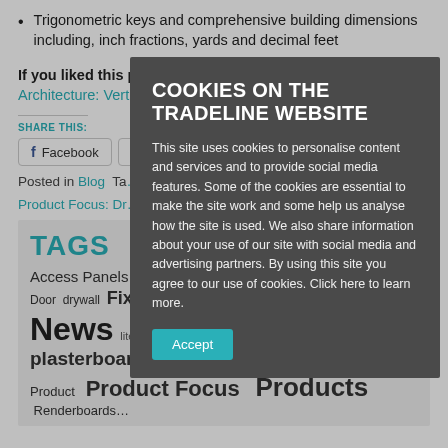Trigonometric keys and comprehensive building dimensions including, inch fractions, yards and decimal feet
If you liked this post, read our blog on The Future of Architecture: Vertical Cities
SHARE THIS:
Posted in Blog  Ta…
Product Focus: Dr…
TAGS
Access Panels …
Door  drywall  Fixing…  News  literature  Metal  New product  Own brand  plasterboard  Product  Product Focus  Products  Renderboards…
[Figure (screenshot): Cookie consent modal overlay on a website. Title: COOKIES ON THE TRADELINE WEBSITE. Body text about cookie policy. Accept button in teal.]